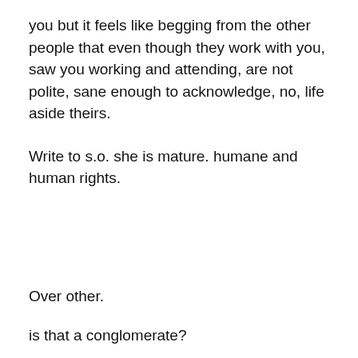you but it feels like begging from the other people that even though they work with you, saw you working and attending, are not polite, sane enough to acknowledge, no, life aside theirs.
Write to s.o. she is mature. humane and human rights.
Over other.
is that a conglomerate?
is that a conglowmerate?
- Ewo, you